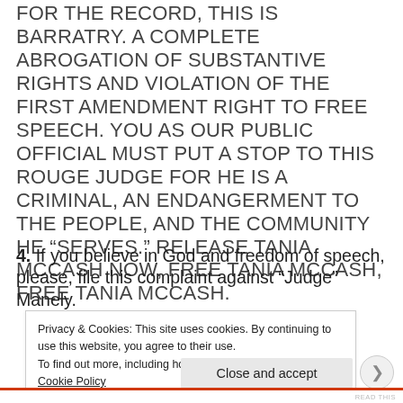FOR THE RECORD, THIS IS BARRATRY. A COMPLETE ABROGATION OF SUBSTANTIVE RIGHTS AND VIOLATION OF THE FIRST AMENDMENT RIGHT TO FREE SPEECH. YOU AS OUR PUBLIC OFFICIAL MUST PUT A STOP TO THIS ROUGE JUDGE FOR HE IS A CRIMINAL, AN ENDANGERMENT TO THE PEOPLE, AND THE COMMUNITY HE “SERVES.” RELEASE TANIA MCCASH NOW, FREE TANIA MCCASH, FREE TANIA MCCASH.
4. If you believe in God and freedom of speech, please, file this complaint against “Judge” Manely.
Privacy & Cookies: This site uses cookies. By continuing to use this website, you agree to their use.
To find out more, including how to control cookies, see here: Cookie Policy
Close and accept